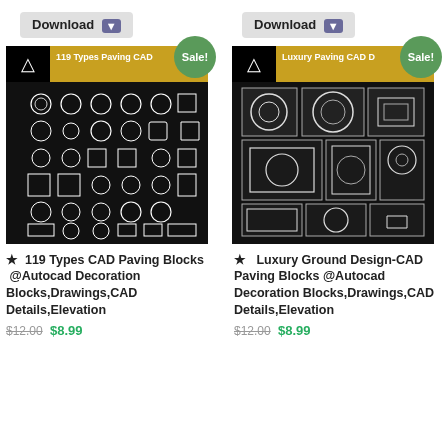[Figure (screenshot): Download button left column]
[Figure (screenshot): Download button right column]
[Figure (photo): 119 Types Paving CAD product image with Sale badge]
[Figure (photo): Luxury Paving CAD D product image with Sale badge]
★  119 Types CAD Paving Blocks  @Autocad Decoration Blocks,Drawings,CAD Details,Elevation
★   Luxury Ground Design-CAD Paving Blocks @Autocad Decoration Blocks,Drawings,CAD Details,Elevation
$12.00 $8.99
$12.00 $8.99